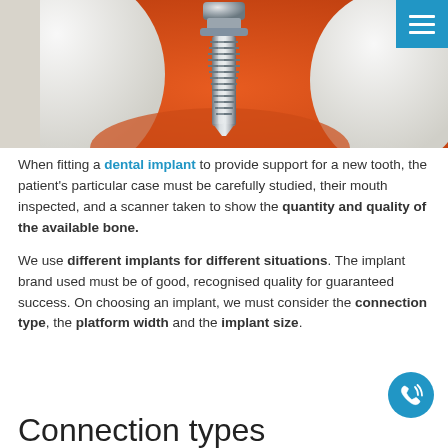[Figure (photo): 3D illustration of a dental implant screw being placed between teeth in orange/red gum tissue, showing the metallic threaded implant post with crown components and adjacent white teeth]
When fitting a dental implant to provide support for a new tooth, the patient's particular case must be carefully studied, their mouth inspected, and a scanner taken to show the quantity and quality of the available bone.
We use different implants for different situations. The implant brand used must be of good, recognised quality for guaranteed success. On choosing an implant, we must consider the connection type, the platform width and the implant size.
Connection types